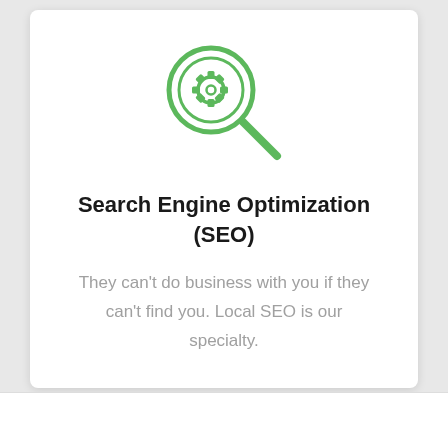[Figure (illustration): Green magnifying glass icon with a gear/cog inside the lens circle]
Search Engine Optimization (SEO)
They can't do business with you if they can't find you. Local SEO is our specialty.
LEARN MORE